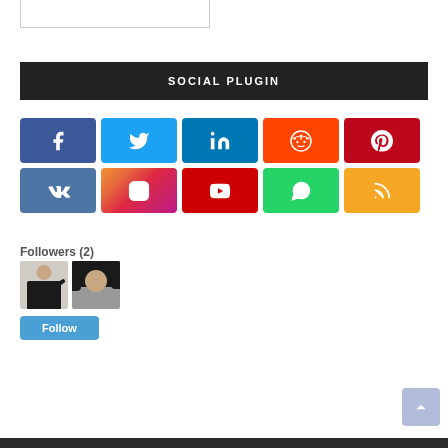SOCIAL PLUGIN
[Figure (screenshot): Social plugin widget showing 10 social media icon buttons in a 5x2 grid: Facebook, Twitter, LinkedIn, Reddit, Pinterest (top row), VK, Instagram, YouTube, WhatsApp, RSS (bottom row)]
Followers (2)
[Figure (photo): Two follower avatars — a person in black clothing gesturing, and a woman with dark hair]
Follow